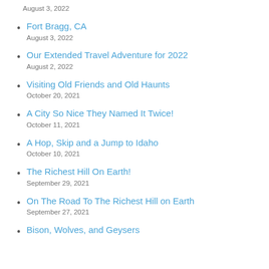August 3, 2022
Fort Bragg, CA
August 3, 2022
Our Extended Travel Adventure for 2022
August 2, 2022
Visiting Old Friends and Old Haunts
October 20, 2021
A City So Nice They Named It Twice!
October 11, 2021
A Hop, Skip and a Jump to Idaho
October 10, 2021
The Richest Hill On Earth!
September 29, 2021
On The Road To The Richest Hill on Earth
September 27, 2021
Bison, Wolves, and Geysers